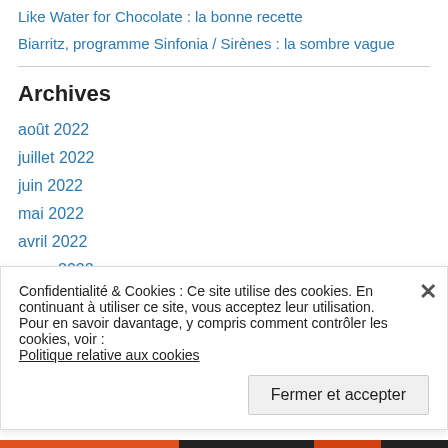Like Water for Chocolate : la bonne recette
Biarritz, programme Sinfonia / Sirènes : la sombre vague
Archives
août 2022
juillet 2022
juin 2022
mai 2022
avril 2022
mars 2022
février 2022
janvier 2022
Confidentialité & Cookies : Ce site utilise des cookies. En continuant à utiliser ce site, vous acceptez leur utilisation.
Pour en savoir davantage, y compris comment contrôler les cookies, voir :
Politique relative aux cookies
Fermer et accepter